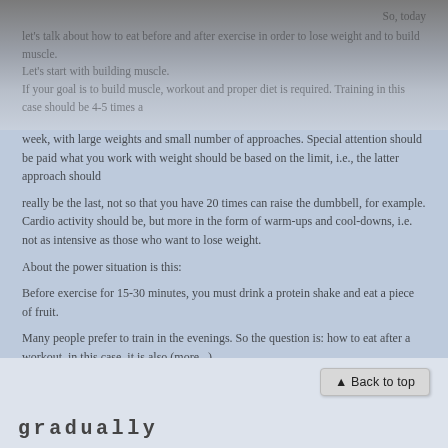So, today let's talk about how to eat before and after exercise in order to lose weight and to build muscle. Let's start with building muscle. If your goal is to build muscle, workout and proper diet is required. Training in this case should be 4-5 times a week, with large weights and small number of approaches. Special attention should be paid what you work with weight should be based on the limit, i.e., the latter approach should
really be the last, not so that you have 20 times can raise the dumbbell, for example. Cardio activity should be, but more in the form of warm-ups and cool-downs, i.e. not as intensive as those who want to lose weight.
About the power situation is this:
Before exercise for 15-30 minutes, you must drink a protein shake and eat a piece of fruit.
Many people prefer to train in the evenings. So the question is: how to eat after a workout, in this case, it is also (more...)
gradually
▲ Back to top